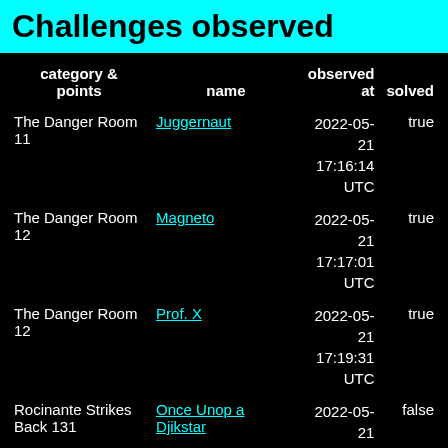Challenges observed
| category &
points | name | observed at | solved |
| --- | --- | --- | --- |
| The Danger Room 11 | Juggernaut | 2022-05-21
17:16:14
UTC | true |
| The Danger Room 12 | Magneto | 2022-05-21
17:17:01
UTC | true |
| The Danger Room 12 | Prof. X | 2022-05-21
17:19:31
UTC | true |
| Rocinante Strikes Back 131 | Once Unop a Djikstar | 2022-05-21
17:20:20
UTC | false |
| Revenge of the Space Math 35 | Matters of State | 2022-05-21
17:21:05
UTC | false |
| I Can Haz Satellite 54 | Red Alert | 2022-05-21
17:25:08
UTC | false |